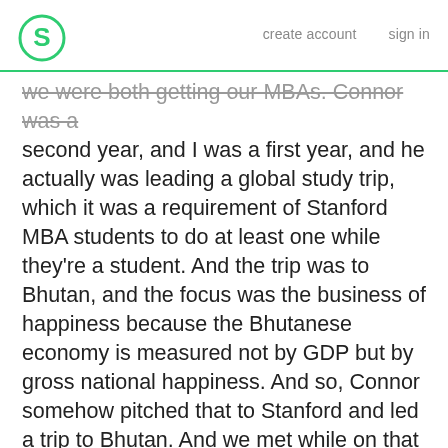S  create account  sign in
we were both getting our MBAs. Connor was a second year, and I was a first year, and he actually was leading a global study trip, which it was a requirement of Stanford MBA students to do at least one while they're a student. And the trip was to Bhutan, and the focus was the business of happiness because the Bhutanese economy is measured not by GDP but by gross national happiness. And so, Connor somehow pitched that to Stanford and led a trip to Bhutan. And we met while on that trip. And I think because of the nature of the theme of the trip, everyone who was participating ended up having kind of probably more deeper conversations about what they envisioned their life to look like and what they wanted it to look